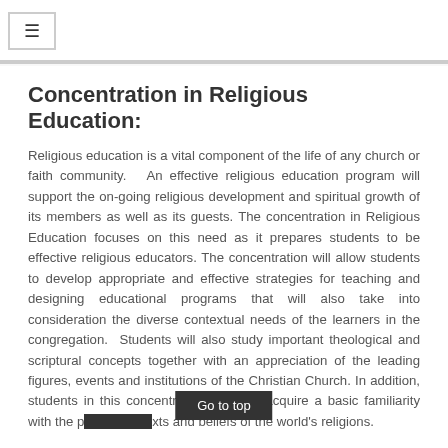☰
Concentration in Religious Education:
Religious education is a vital component of the life of any church or faith community. An effective religious education program will support the on-going religious development and spiritual growth of its members as well as its guests. The concentration in Religious Education focuses on this need as it prepares students to be effective religious educators. The concentration will allow students to develop appropriate and effective strategies for teaching and designing educational programs that will also take into consideration the diverse contextual needs of the learners in the congregation. Students will also study important theological and scriptural concepts together with an appreciation of the leading figures, events and institutions of the Christian Church. In addition, students in this concentration will also acquire a basic familiarity with the practices, texts and beliefs of the world's religions.